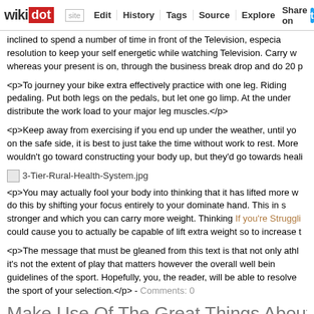wikidot | site | Edit | History | Tags | Source | Explore | Share on [Twitter]
inclined to spend a number of time in front of the Television, especially resolution to keep your self energetic while watching Television. Carry w whereas your present is on, through the business break drop and do 20 p
<p>To journey your bike extra effectively practice with one leg. Riding pedaling. Put both legs on the pedals, but let one go limp. At the under distribute the work load to your major leg muscles.</p>
<p>Keep away from exercising if you end up under the weather, until yo on the safe side, it is best to just take the time without work to rest. More wouldn't go toward constructing your body up, but they'd go towards heali
[Figure (other): Broken image placeholder for 3-Tier-Rural-Health-System.jpg]
<p>You may actually fool your body into thinking that it has lifted more w do this by shifting your focus entirely to your dominate hand. This in s stronger and which you can carry more weight. Thinking If you're Struggli could cause you to actually be capable of lift extra weight so to increase t
<p>The message that must be gleaned from this text is that not only athl it's not the extent of play that matters however the overall well bein guidelines of the sport. Hopefully, you, the reader, will be able to resolve the sport of your selection.</p> - Comments: 0
Make Use Of The Great Things About Shopping O
Tags: